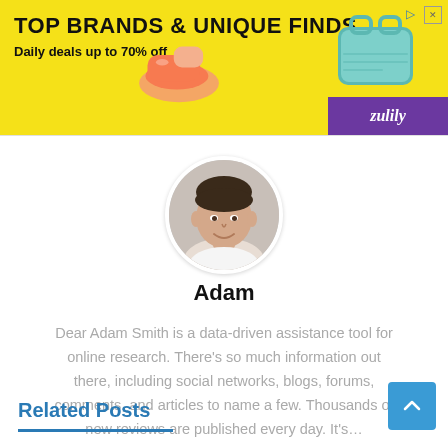[Figure (screenshot): Advertisement banner for Zulily: yellow background with text 'TOP BRANDS & UNIQUE FINDS' and 'Daily deals up to 70% off', with product images (shoes, bag) and Zulily logo on purple strip.]
[Figure (photo): Circular profile photo of a young man (Adam) smiling, cropped to a circle.]
Adam
Dear Adam Smith is a data-driven assistance tool for online research. There's so much information out there, including social networks, blogs, forums, comments, and articles to name a few. Thousands of new reviews are published every day. It's…
Related Posts